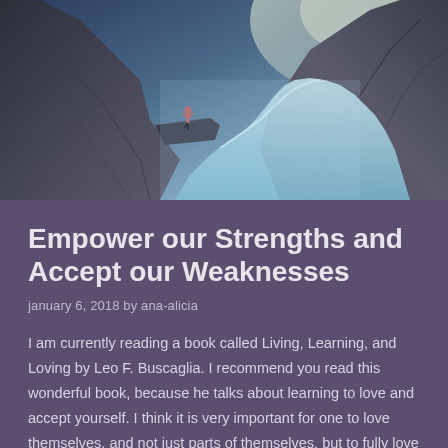[Figure (photo): A person standing in a yoga or tree pose on the edge of a dramatic rocky cliff ledge, overlooking a winding river valley far below with steep rocky mountains on both sides. The scene has a cool blue-teal color tone with bright light coming from the upper right.]
Empower our Strengths and Accept our Weaknesses
january 6, 2018 by ana-alicia
I am currently reading a book called Living, Learning, and Loving by Leo F. Buscaglia. I recommend you read this wonderful book, because he talks about learning to love and accept yourself. I think it is very important for one to love themselves, and not just parts of themselves, but to fully love one self. He talks about